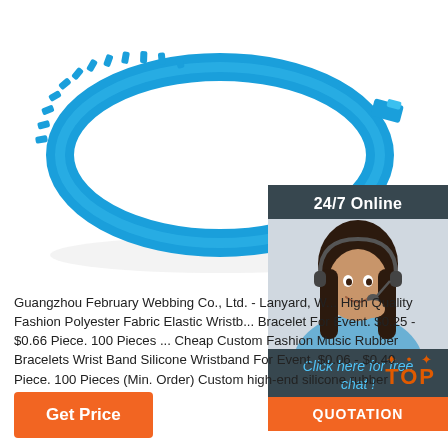[Figure (photo): Blue silicone/rubber wristband with spiked/comb-like edges, shown on white background]
[Figure (photo): 24/7 Online chat widget with female customer service agent wearing headset. Contains 'Click here for free chat!' text and orange QUOTATION button.]
Guangzhou February Webbing Co., Ltd. - Lanyard, W... High Quality Fashion Polyester Fabric Elastic Wristb... Bracelet For Event. $0.25 - $0.66 Piece. 100 Pieces ... Cheap Custom Fashion Music Rubber Bracelets Wrist Band Silicone Wristband For Event. $0.06 - $0.40 Piece. 100 Pieces (Min. Order) Custom high-end silicone rubber wristband.
[Figure (other): TOP button with orange dots decoration]
Get Price